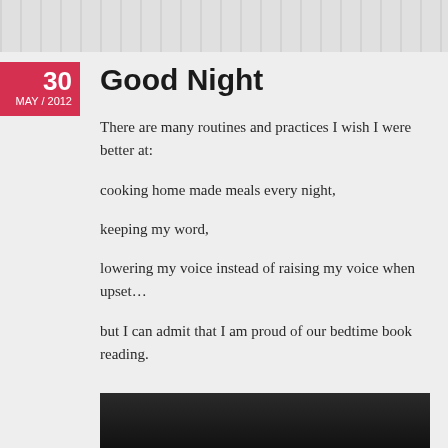Good Night
30
MAY / 2012
There are many routines and practices I wish I were better at:
cooking home made meals every night,
keeping my word,
lowering my voice instead of raising my voice when upset…
but I can admit that I am proud of our bedtime book reading.
[Figure (photo): Dark/black image strip at the bottom of the page]